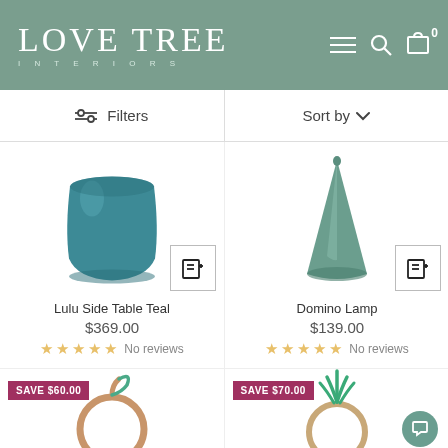Love Tree Interiors
Filters
Sort by
[Figure (photo): Teal ceramic side table/stool with rounded cylindrical shape, viewed from above-front angle]
Lulu Side Table Teal
$369.00
No reviews
[Figure (photo): Sage green conical lamp shade, narrow cone shape on white background]
Domino Lamp
$139.00
No reviews
SAVE $60.00
SAVE $70.00
[Figure (photo): Rattan mirror with apple/fruit shaped frame, partial view at bottom of page]
[Figure (photo): Rattan mirror with pineapple/plant shaped frame, partial view at bottom of page]